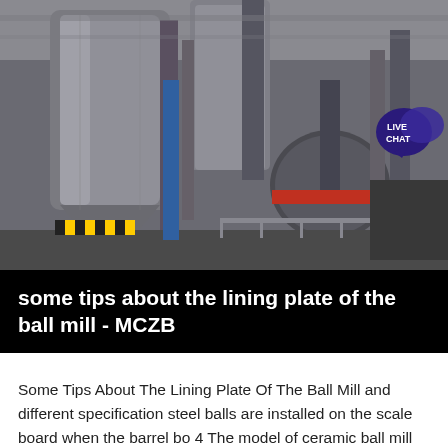[Figure (photo): Industrial ball mill facility interior showing large cylindrical grinding equipment, silos, pipes, and metal structures in a factory setting]
some tips about the lining plate of the ball mill - MCZB
Some Tips About The Lining Plate Of The Ball Mill and different specification steel balls are installed on the scale board when the barrel bo 4 The model of ceramic ball mill lining plate and grinding media will be chosen accordin Dry ball mill Ball mill for sale Grinding ball mill